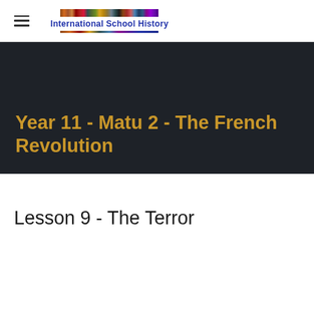International School History
Year 11 - Matu 2 - The French Revolution
Lesson 9 - The Terror